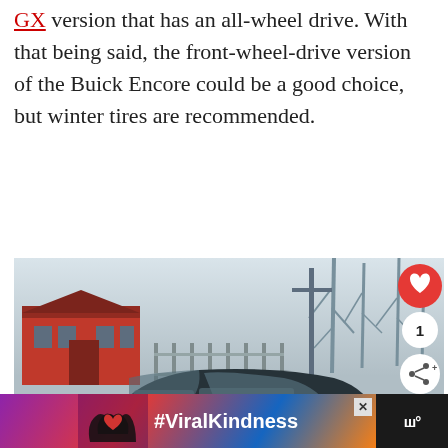GX version that has an all-wheel drive. With that being said, the front-wheel-drive version of the Buick Encore could be a good choice, but winter tires are recommended.
[Figure (photo): Black Buick Encore SUV parked in a snowy winter scene with a red barn building and bare trees in the background. Social media UI overlaid with a red heart/like button (1 like), a share button, and a 'What's Next' panel showing 'Is The Buick Encore AWD...' teaser.]
[Figure (screenshot): Advertisement banner at the bottom showing #ViralKindness with hands forming a heart shape, on a dark background with colorful gradient, and a weather widget icon.]